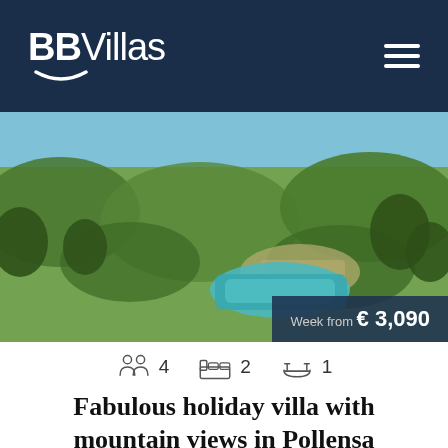BBVillas
[Figure (photo): Aerial view of a holiday villa with a large swimming pool surrounded by lush green gardens and trees in Pollensa]
Week from € 3,090
4  2  1
Fabulous holiday villa with mountain views in Pollensa